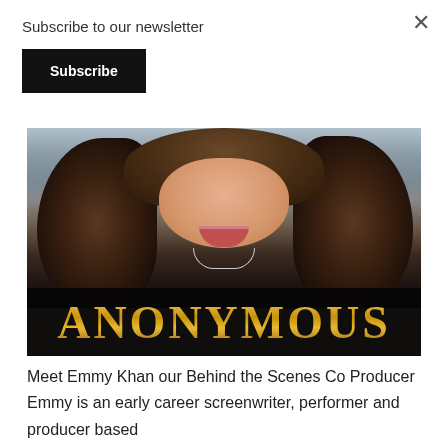×
Subscribe to our newsletter
Subscribe
[Figure (photo): A smiling woman with long curly brown hair wearing a dark top and a necklace. She is photographed from the shoulders up. Below the photo is a black banner with the word ANONYMOUS in large gold letters.]
Meet Emmy Khan our Behind the Scenes Co Producer Emmy is an early career screenwriter, performer and producer based